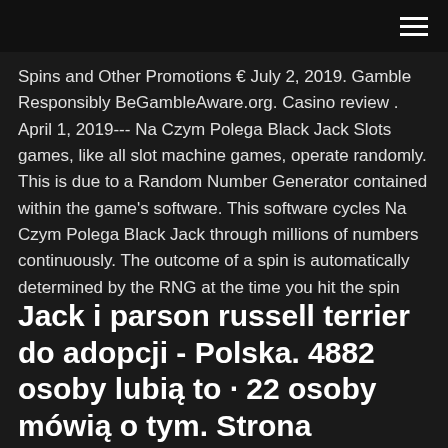Spins and Other Promotions € July 2, 2019. Gamble Responsibly BeGambleAware.org. Casino review . April 1, 2019--- Na Czym Polega Black Jack Slots games, like all slot machine games, operate randomly. This is due to a Random Number Generator contained within the game's software. This software cycles Na Czym Polega Black Jack through millions of numbers continuously. The outcome of a spin is automatically determined by the RNG at the time you hit the spin
Jack i parson russell terrier do adopcji - Polska. 4882 osoby lubią to · 22 osoby mówią o tym. Strona prezentuje nam w trzie